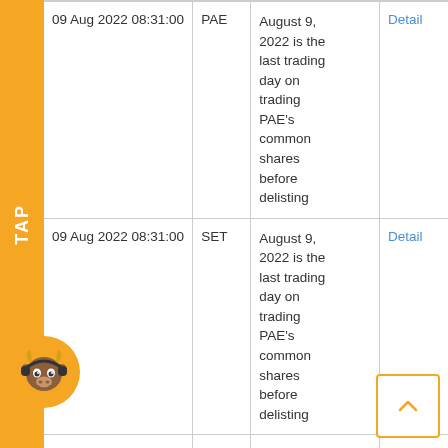| Date/Time | Source | Description | Action |
| --- | --- | --- | --- |
| 09 Aug 2022 08:31:00 | PAE | August 9, 2022 is the last trading day on trading PAE's common shares before delisting | Detail |
| 09 Aug 2022 08:31:00 | SET | August 9, 2022 is the last trading day on trading PAE's common shares before delisting | Detail |
| 08 Aug 2022 08:34:00 | PAE | August 9, | Detail |